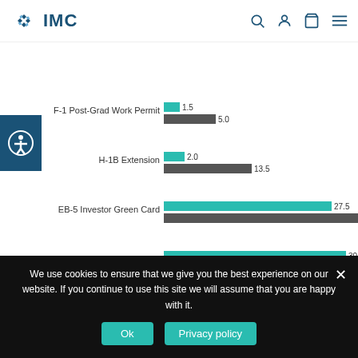IMC
[Figure (grouped-bar-chart): Processing times (months)]
Source: U.S. Citizenship and Immigration Services    Bloomberg Law
The delays drew the attention of lawmakers,
We use cookies to ensure that we give you the best experience on our website. If you continue to use this site we will assume that you are happy with it.